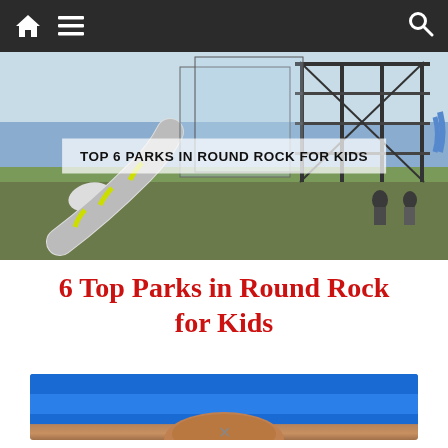Navigation bar with home, menu, and search icons
[Figure (photo): Playground structure with slide and metal framework, with overlay text reading TOP 6 PARKS IN ROUND ROCK FOR KIDS]
6 Top Parks in Round Rock for Kids
[Figure (photo): Child at a park against a blue sky background]